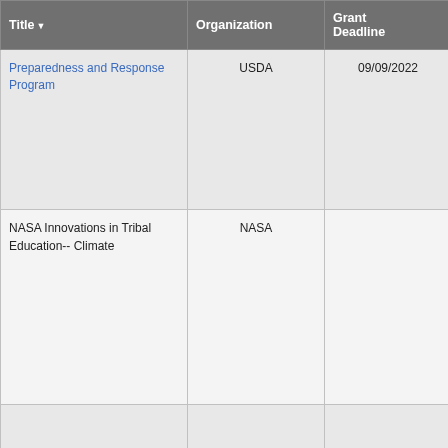| Title | Organization | Grant Deadline | Description |
| --- | --- | --- | --- |
| Preparedness and Response Program | USDA | 09/09/2022 | Develop, enhance, and exe... Tribal animal disease outhre... response plans; Support live... poultry biosecurity; enhance... traceability for a disease out... outreach and education on a... prevention, preparedness, a... topics. Learn more and apph... |
| NASA Innovations in Tribal Education-- Climate | NASA |  | The National Aeronautics an... Administration Office of Edu... accepting proposals under th... University Research and Ed... (MUREP), and includes calls... the following program eleme... Year 2013: NASA Innovation... Education - Tribal (NICE-T) a... College and University Expe... Opportunities – (TCU ELO). |
|  |  |  | Deadline passed. Most rec... November 3, 2021. The Na... |